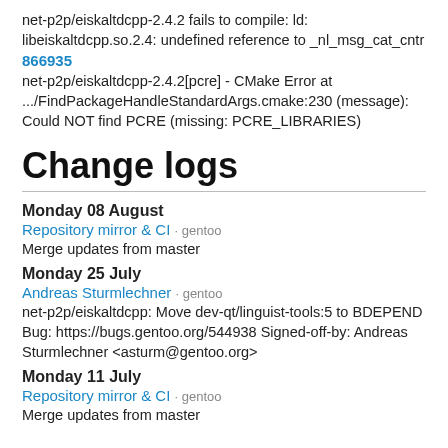net-p2p/eiskaltdcpp-2.4.2 fails to compile: ld: libeiskaltdcpp.so.2.4: undefined reference to _nl_msg_cat_cntr
866935
net-p2p/eiskaltdcpp-2.4.2[pcre] - CMake Error at .../FindPackageHandleStandardArgs.cmake:230 (message): Could NOT find PCRE (missing: PCRE_LIBRARIES)
Change logs
Monday 08 August
Repository mirror & CI · gentoo
Merge updates from master
Monday 25 July
Andreas Sturmlechner · gentoo
net-p2p/eiskaltdcpp: Move dev-qt/linguist-tools:5 to BDEPEND Bug: https://bugs.gentoo.org/544938 Signed-off-by: Andreas Sturmlechner <asturm@gentoo.org>
Monday 11 July
Repository mirror & CI · gentoo
Merge updates from master